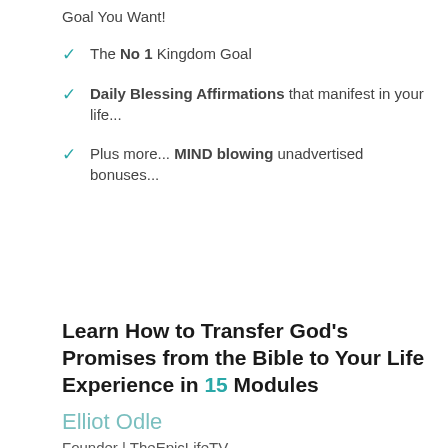Goal You Want!
The No 1 Kingdom Goal
Daily Blessing Affirmations that manifest in your life...
Plus more... MIND blowing unadvertised bonuses...
Learn How to Transfer God's Promises from the Bible to Your Life Experience in 15 Modules
Elliot Odle
Founder | TheEpicLifeTV